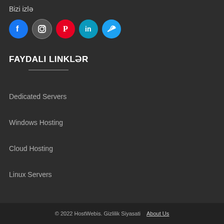Bizi izlə
[Figure (illustration): Row of social media icon circles: Facebook (blue), Instagram (dark), Pinterest (red), LinkedIn (teal), Twitter (light blue)]
FAYDALI LINKLƏR
Dedicated Servers
Windows Hosting
Cloud Hosting
Linux Servers
© 2022 HostWebis. Gizlilik Siyasati   About Us